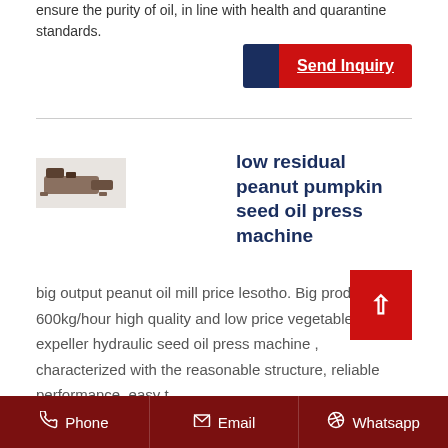ensure the purity of oil, in line with health and quarantine standards.
[Figure (other): Send Inquiry button with blue and red sections]
[Figure (photo): Small product image of oil press machine]
low residual peanut pumpkin seed oil press machine
big output peanut oil mill price lesotho. Big production 600kg/hour high quality and low price vegetable oil expeller hydraulic seed oil press machine , characterized with the reasonable structure, reliable performance, easy t
Phone   Email   Whatsapp